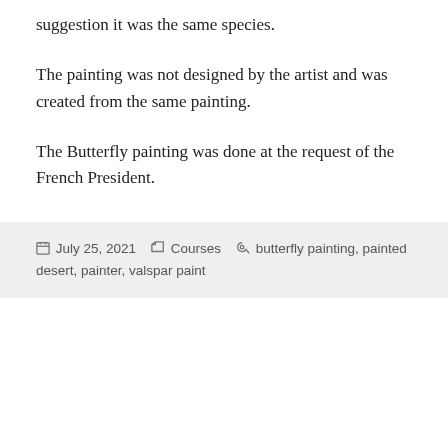suggestion it was the same species.
The painting was not designed by the artist and was created from the same painting.
The Butterfly painting was done at the request of the French President.
July 25, 2021   Courses   butterfly painting, painted desert, painter, valspar paint